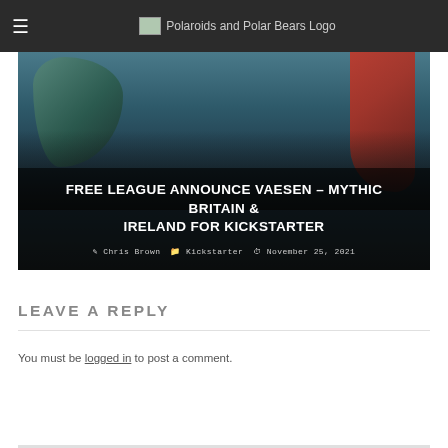Polaroids and Polar Bears Logo
[Figure (illustration): Hero image showing a fantasy illustration with red-haired figure and wing shapes on dark background, overlaid with article title and metadata]
FREE LEAGUE ANNOUNCE VAESEN – MYTHIC BRITAIN & IRELAND FOR KICKSTARTER
Chris Brown   Kickstarter   November 25, 2021
LEAVE A REPLY
You must be logged in to post a comment.